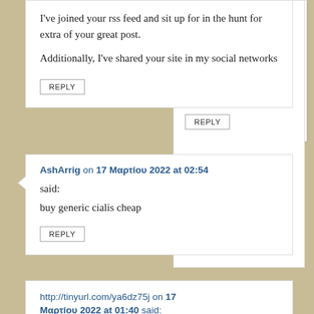I've joined your rss feed and sit up for in the hunt for extra of your great post.

Additionally, I've shared your site in my social networks
REPLY
AshArrig on 17 Μαρτίου 2022 at 02:54
said:
buy generic cialis cheap
REPLY
http://tinyurl.com/ya6dz75j on 17 Μαρτίου 2022 at 01:40 said:
Howdy just wanted to give you a quick heads up and